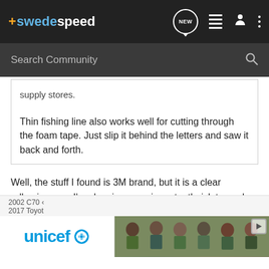swedespeed — navigation bar with NEW, list, profile, and menu icons
Search Community
supply stores.

Thin fishing line also works well for cutting through the foam tape. Just slip it behind the letters and saw it back and forth.
Well, the stuff I found is 3M brand, but it is a clear adhesive goo. I'm planning on using a toothpick to apply a little bit to the back of the letters.
I couldn't find any foam tape at the auto parts store...
[Figure (screenshot): Advertisement banner showing UNICEF logo on left and a photo of smiling children on right, with 2002 C70 and 2017 Toyota text labels]